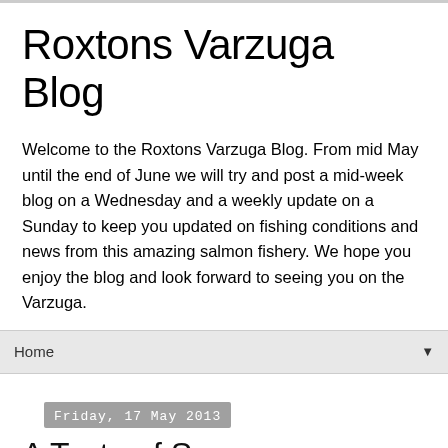Roxtons Varzuga Blog
Welcome to the Roxtons Varzuga Blog. From mid May until the end of June we will try and post a mid-week blog on a Wednesday and a weekly update on a Sunday to keep you updated on fishing conditions and news from this amazing salmon fishery. We hope you enjoy the blog and look forward to seeing you on the Varzuga.
Home
Friday, 17 May 2013
A Taste of Summer
Finally we saw the sun yesterday, a glorious day, bright blue at first and then one of those extraordinary, huge skies you get up here crept in - high up in the stratosphere a massive ribbon of mackerel clouds seemed suspended over us all afternoon.